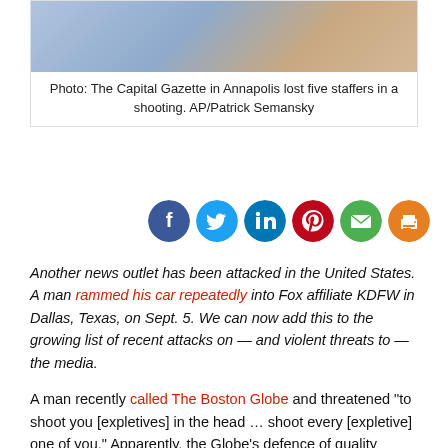[Figure (photo): Partial photo of The Capital Gazette newspaper office exterior]
Photo: The Capital Gazette in Annapolis lost five staffers in a shooting. AP/Patrick Semansky
[Figure (infographic): Social sharing icons: Facebook, Twitter, LinkedIn, Pinterest, Email, Print]
Another news outlet has been attacked in the United States. A man rammed his car repeatedly into Fox affiliate KDFW in Dallas, Texas, on Sept. 5. We can now add this to the growing list of recent attacks on — and violent threats to — the media.
A man recently called The Boston Globe and threatened “to shoot you [expletives] in the head … shoot every [expletive] one of you.” Apparently, the Globe’s defence of quality journalism infuriated him.
At CNN, anchors report an uptick in death threats. And, most tragically of all, there was the shooting of five